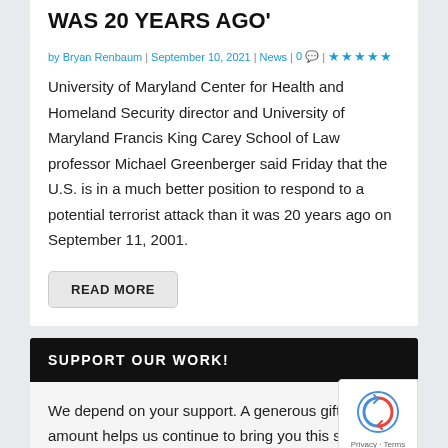WAS 20 YEARS AGO'
by Bryan Renbaum | September 10, 2021 | News | 0 | ★★★★★
University of Maryland Center for Health and Homeland Security director and University of Maryland Francis King Carey School of Law professor Michael Greenberger said Friday that the U.S. is in a much better position to respond to a potential terrorist attack than it was 20 years ago on September 11, 2001.
READ MORE
SUPPORT OUR WORK!
We depend on your support. A generous gift in any amount helps us continue to bring you this service.